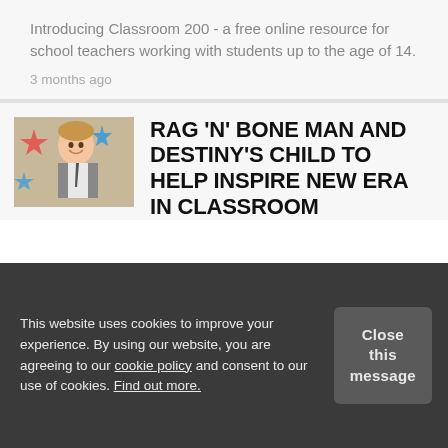Introducing Classroom 200 - a free online resource for school teachers working with students up to the age of 14.
3 months ago
[Figure (photo): A smiling boy in school uniform with star decorations in background]
RAG 'N' BONE MAN AND DESTINY'S CHILD TO HELP INSPIRE NEW ERA IN CLASSROOM
This website uses cookies to improve your experience. By using our website, you are agreeing to our cookie policy and consent to our use of cookies. Find out more.